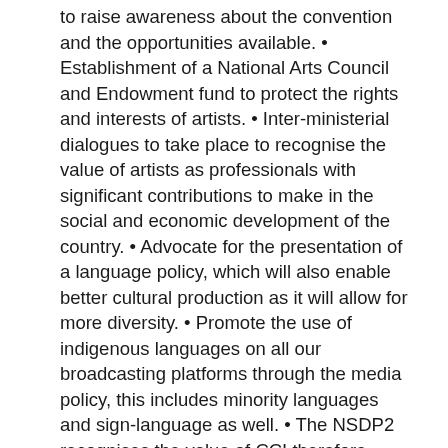to raise awareness about the convention and the opportunities available. • Establishment of a National Arts Council and Endowment fund to protect the rights and interests of artists. • Inter-ministerial dialogues to take place to recognise the value of artists as professionals with significant contributions to make in the social and economic development of the country. • Advocate for the presentation of a language policy, which will also enable better cultural production as it will allow for more diversity. • Promote the use of indigenous languages on all our broadcasting platforms through the media policy, this includes minority languages and sign-language as well. • The NSDP2 recognises the value of CCI therefore better efforts are being made to implement CCI related initiatives. • The establishment of online media portals will continue. • The LNBS currently has a 85:15 ration of local content and aims to reach 90:10 in the near future. • New policies will be reviewed with a deliberate intention to emphasise CCI across all areas of development. • Clear funding channels and models will be introduced to assist creatives, including an arts trust fund. • Once formed, the arts council will be responsible for the monitoring and evaluation of